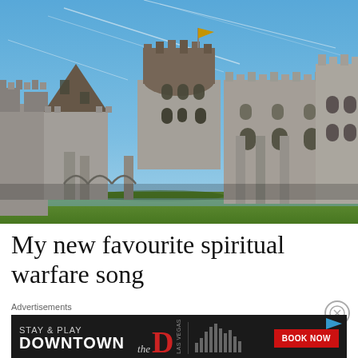[Figure (photo): Photograph of a large medieval stone castle with multiple towers and battlements against a bright blue sky with wispy contrail clouds. Green vegetation is visible at the base of the castle walls.]
My new favourite spiritual warfare song
Advertisements
[Figure (other): Advertisement banner: STAY & PLAY DOWNTOWN with 'the D' Las Vegas branding and a BOOK NOW button in red.]